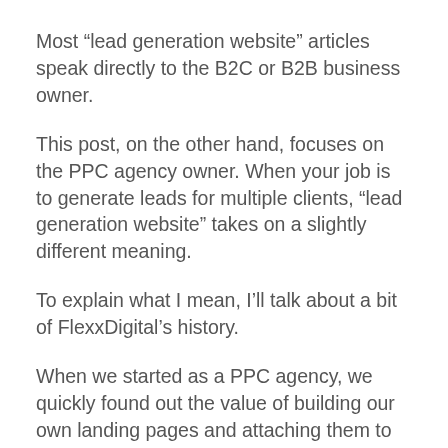Most “lead generation website” articles speak directly to the B2C or B2B business owner.
This post, on the other hand, focuses on the PPC agency owner. When your job is to generate leads for multiple clients, “lead generation website” takes on a slightly different meaning.
To explain what I mean, I’ll talk about a bit of FlexxDigital’s history.
When we started as a PPC agency, we quickly found out the value of building our own landing pages and attaching them to the client’s website. Using the drag-and-drop website builder, Unbounce, we could get a page up and running (and without too much interruption from the client)